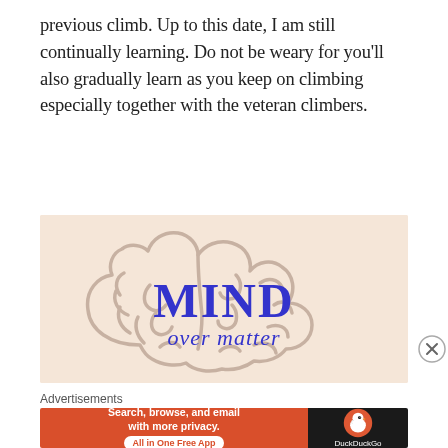previous climb. Up to this date, I am still continually learning. Do not be weary for you'll also gradually learn as you keep on climbing especially together with the veteran climbers.
[Figure (illustration): A beige/peach background illustration of a brain outline in gray. In the center, bold blue text reads 'MIND' in a serif display font, and below it in blue italic/cursive font reads 'over matter'.]
Advertisements
[Figure (logo): DuckDuckGo advertisement banner. Left side is orange-red with white bold text 'Search, browse, and email with more privacy.' and a white pill button 'All in One Free App'. Right side is dark/black with the DuckDuckGo duck logo and text 'DuckDuckGo'.]